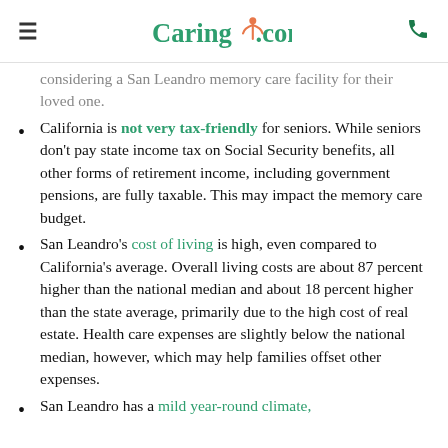Caring.com
considering a San Leandro memory care facility for their loved one.
California is not very tax-friendly for seniors. While seniors don't pay state income tax on Social Security benefits, all other forms of retirement income, including government pensions, are fully taxable. This may impact the memory care budget.
San Leandro's cost of living is high, even compared to California's average. Overall living costs are about 87 percent higher than the national median and about 18 percent higher than the state average, primarily due to the high cost of real estate. Health care expenses are slightly below the national median, however, which may help families offset other expenses.
San Leandro has a mild year-round climate,